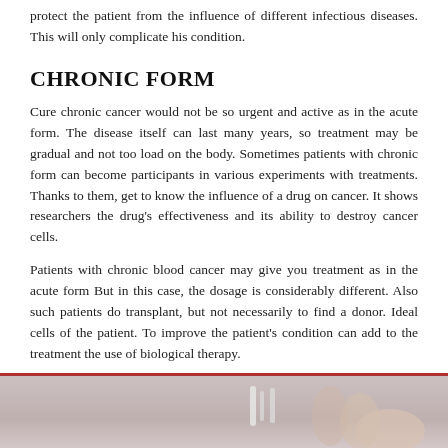protect the patient from the influence of different infectious diseases. This will only complicate his condition.
CHRONIC FORM
Cure chronic cancer would not be so urgent and active as in the acute form. The disease itself can last many years, so treatment may be gradual and not too load on the body. Sometimes patients with chronic form can become participants in various experiments with treatments. Thanks to them, get to know the influence of a drug on cancer. It shows researchers the drug's effectiveness and its ability to destroy cancer cells.
Patients with chronic blood cancer may give you treatment as in the acute form But in this case, the dosage is considerably different. Also such patients do transplant, but not necessarily to find a donor. Ideal cells of the patient. To improve the patient's condition can add to the treatment the use of biological therapy.
IS IT POSSIBLE TO COMPLETELY CURE BLOOD CANCER
[Figure (photo): Medical/clinical photo showing hands holding a medical device or treatment apparatus, with gray/beige background.]